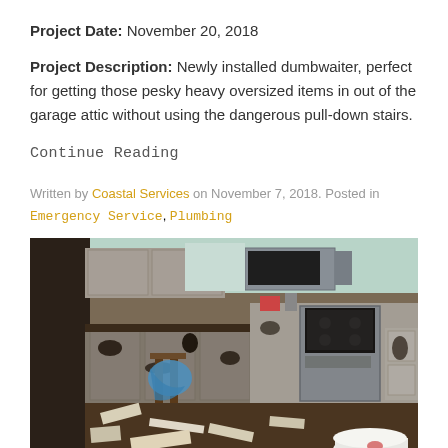Project Date: November 20, 2018
Project Description: Newly installed dumbwaiter, perfect for getting those pesky heavy oversized items in out of the garage attic without using the dangerous pull-down stairs.
Continue Reading
Written by Coastal Services on November 7, 2018. Posted in
Emergency Service, Plumbing
[Figure (photo): Heavily damaged and debris-covered kitchen interior with black mold or sewage covering cabinets, floors, walls, and appliances including a stainless steel stove and refrigerator. A wooden chair with a blue cloth is visible amid the destruction.]